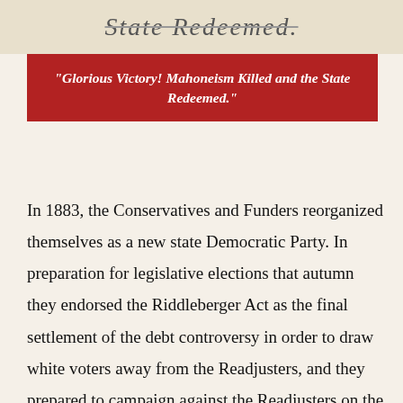[Figure (photo): Partially visible text image showing 'State Redeemed.' in an old typographic style, appears to be a newspaper or historical document headline, cropped at top.]
"Glorious Victory! Mahoneism Killed and the State Redeemed."
In 1883, the Conservatives and Funders reorganized themselves as a new state Democratic Party. In preparation for legislative elections that autumn they endorsed the Riddleberger Act as the final settlement of the debt controversy in order to draw white voters away from the Readjusters, and they prepared to campaign against the Readjusters on the issue of white supremacy. John S. Barbour, president of the Orange and Alexandria